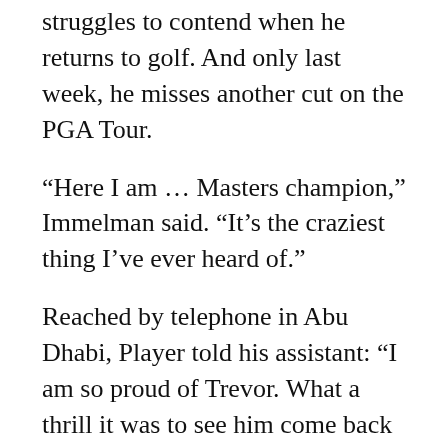struggles to contend when he returns to golf. And only last week, he misses another cut on the PGA Tour.
“Here I am … Masters champion,” Immelman said. “It’s the craziest thing I’ve ever heard of.”
Reached by telephone in Abu Dhabi, Player told his assistant: “I am so proud of Trevor. What a thrill it was to see him come back from major surgery and beat Tiger. I can’t wait to see him and shake his hand personally.”
Player is among five players to have won the career Grand Slam. Among active players, Immelman becomes the third South African to capture a major, joining Ernie Els and Retief